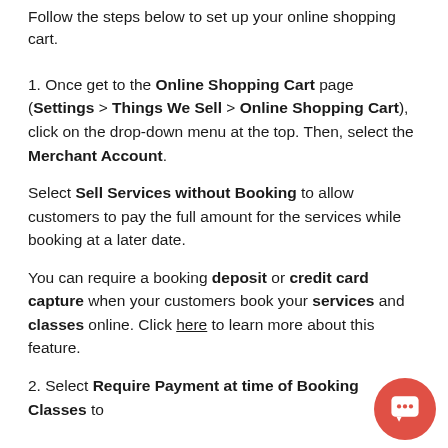Follow the steps below to set up your online shopping cart.
1. Once get to the Online Shopping Cart page (Settings > Things We Sell > Online Shopping Cart), click on the drop-down menu at the top. Then, select the Merchant Account.
Select Sell Services without Booking to allow customers to pay the full amount for the services while booking at a later date.
You can require a booking deposit or credit card capture when your customers book your services and classes online. Click here to learn more about this feature.
2. Select Require Payment at time of Booking Classes to...